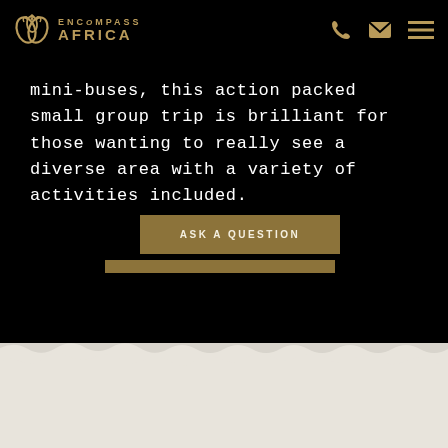Encompass Africa - logo and navigation
mini-buses, this action packed small group trip is brilliant for those wanting to really see a diverse area with a variety of activities included.
ASK A QUESTION
REQUEST THE ITINERARY